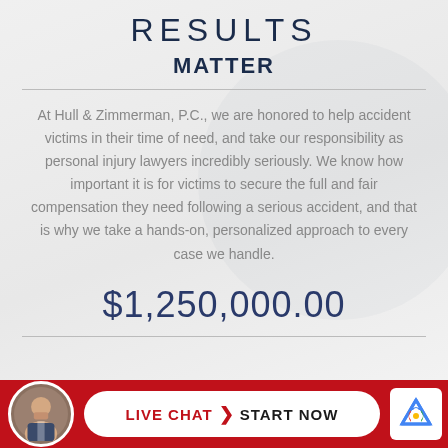RESULTS
MATTER
At Hull & Zimmerman, P.C., we are honored to help accident victims in their time of need, and take our responsibility as personal injury lawyers incredibly seriously. We know how important it is for victims to secure the full and fair compensation they need following a serious accident, and that is why we take a hands-on, personalized approach to every case we handle.
$1,250,000.00
LIVE CHAT > START NOW